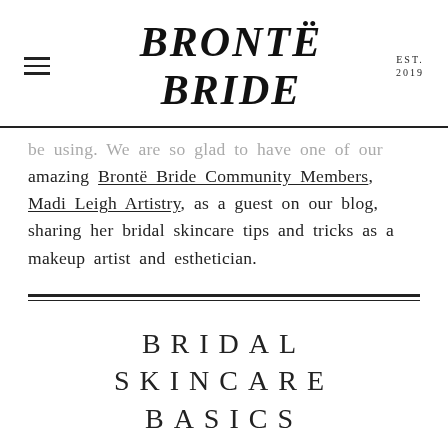BRONTË BRIDE EST. 2019
be using. We are so glad to have one of our amazing Brontë Bride Community Members, Madi Leigh Artistry, as a guest on our blog, sharing her bridal skincare tips and tricks as a makeup artist and esthetician.
BRIDAL SKINCARE BASICS
four things you can start doing today to get